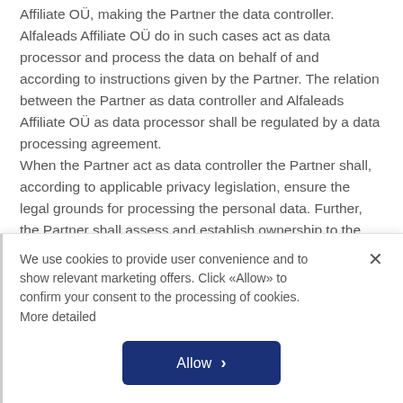Affiliate OÜ, making the Partner the data controller. Alfaleads Affiliate OÜ do in such cases act as data processor and process the data on behalf of and according to instructions given by the Partner. The relation between the Partner as data controller and Alfaleads Affiliate OÜ as data processor shall be regulated by a data processing agreement. When the Partner act as data controller the Partner shall, according to applicable privacy legislation, ensure the legal grounds for processing the personal data. Further, the Partner shall assess and establish ownership to the risks posed to data subjects by processing their personal data.
We use cookies to provide user convenience and to show relevant marketing offers. Click «Allow» to confirm your consent to the processing of cookies. More detailed